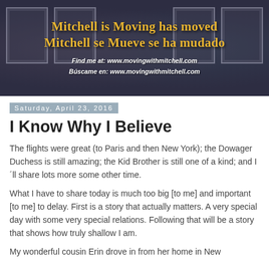[Figure (illustration): Blog banner with dark textured background and decorative frame boxes. Yellow/gold handwritten-style text reads 'Mitchell is Moving has moved / Mitchell se Mueve se ha mudado'. White italic text below: 'Find me at: www.movingwithmitchell.com' and 'Búscame en: www.movingwithmitchell.com']
Saturday, April 23, 2016
I Know Why I Believe
The flights were great (to Paris and then New York); the Dowager Duchess is still amazing; the Kid Brother is still one of a kind; and I´ll share lots more some other time.
What I have to share today is much too big [to me] and important [to me] to delay. First is a story that actually matters. A very special day with some very special relations. Following that will be a story that shows how truly shallow I am.
My wonderful cousin Erin drove in from her home in New...